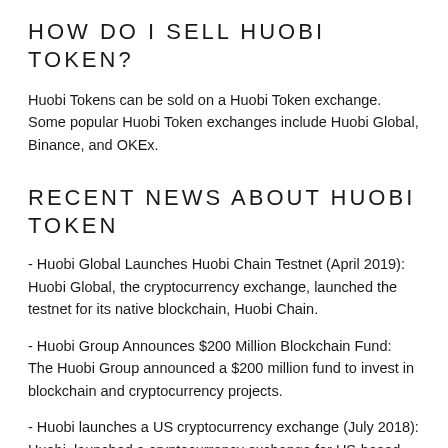HOW DO I SELL HUOBI TOKEN?
Huobi Tokens can be sold on a Huobi Token exchange. Some popular Huobi Token exchanges include Huobi Global, Binance, and OKEx.
RECENT NEWS ABOUT HUOBI TOKEN
- Huobi Global Launches Huobi Chain Testnet (April 2019): Huobi Global, the cryptocurrency exchange, launched the testnet for its native blockchain, Huobi Chain.
- Huobi Group Announces $200 Million Blockchain Fund: The Huobi Group announced a $200 million fund to invest in blockchain and cryptocurrency projects.
- Huobi launches a US cryptocurrency exchange (July 2018): Huobi, launched a cryptocurrency exchange for US-based